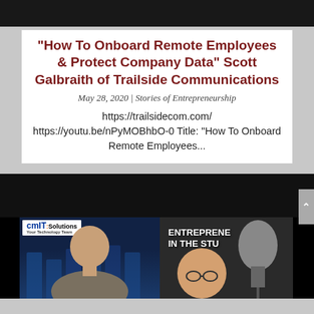[Figure (screenshot): Dark top strip, partial screenshot of a video or image at the top of the page]
“How To Onboard Remote Employees & Protect Company Data” Scott Galbraith of Trailside Communications
May 28, 2020 | Stories of Entrepreneurship
https://trailsidecom.com/
https://youtu.be/nPyMOBhbO-0 Title: "How To Onboard Remote Employees...
[Figure (screenshot): Screenshot of a video thumbnail showing two people: a man with CMIT Solutions background on the left, and a man with a microphone labeled ENTREPRENEUR IN THE STUDIO on the right]